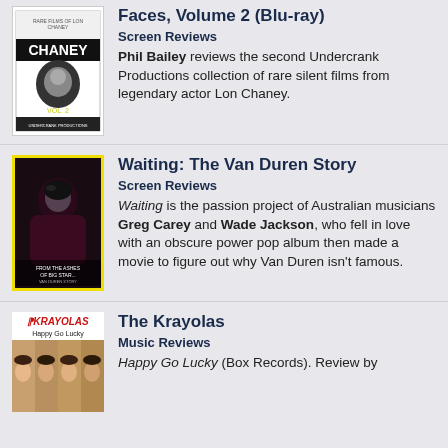[Figure (photo): Cover image for Lon Chaney: Faces Volume 2 Blu-ray, black and white with text]
Faces, Volume 2 (Blu-ray)
Screen Reviews
Phil Bailey reviews the second Undercrank Productions collection of rare silent films from legendary actor Lon Chaney.
[Figure (photo): Cover image for Waiting: The Van Duren Story, dark photo with yellow border]
Waiting: The Van Duren Story
Screen Reviews
Waiting is the passion project of Australian musicians Greg Carey and Wade Jackson, who fell in love with an obscure power pop album then made a movie to figure out why Van Duren isn't famous.
[Figure (photo): Cover image for The Krayolas Happy Go Lucky album]
The Krayolas
Music Reviews
Happy Go Lucky (Box Records). Review by